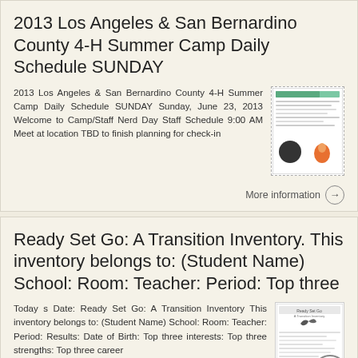2013 Los Angeles & San Bernardino County 4-H Summer Camp Daily Schedule SUNDAY
2013 Los Angeles & San Bernardino County 4-H Summer Camp Daily Schedule SUNDAY Sunday, June 23, 2013 Welcome to Camp/Staff Nerd Day Staff Schedule 9:00 AM Meet at location TBD to finish planning for check-in
[Figure (photo): Thumbnail image of the 4-H Summer Camp Daily Schedule document]
More information →
Ready Set Go: A Transition Inventory. This inventory belongs to: (Student Name) School: Room: Teacher: Period: Top three
Today s Date: Ready Set Go: A Transition Inventory This inventory belongs to: (Student Name) School: Room: Teacher: Period: Results: Date of Birth: Top three interests: Top three strengths: Top three career
[Figure (photo): Thumbnail image of the Ready Set Go Transition Inventory document]